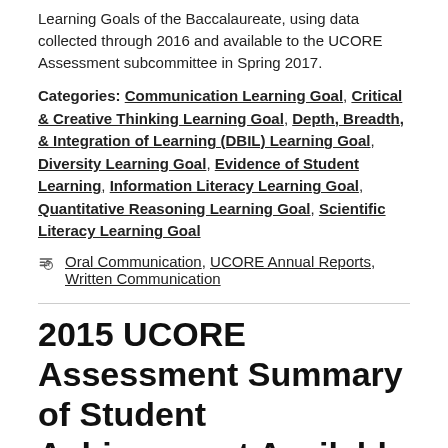Learning Goals of the Baccalaureate, using data collected through 2016 and available to the UCORE Assessment subcommittee in Spring 2017.
Categories: Communication Learning Goal, Critical & Creative Thinking Learning Goal, Depth, Breadth, & Integration of Learning (DBIL) Learning Goal, Diversity Learning Goal, Evidence of Student Learning, Information Literacy Learning Goal, Quantitative Reasoning Learning Goal, Scientific Literacy Learning Goal
Tags: Oral Communication, UCORE Annual Reports, Written Communication
2015 UCORE Assessment Summary of Student Achievement Available
February 21, 2017